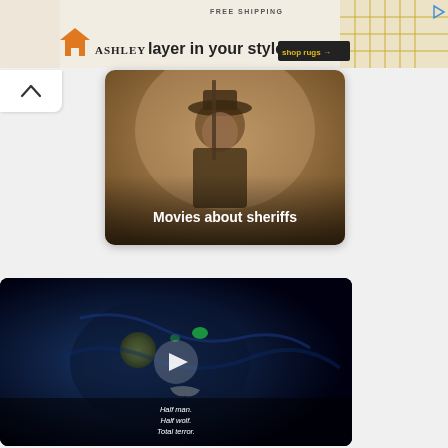[Figure (screenshot): Ashley Furniture advertisement banner with house icon, FREE SHIPPING text, 'layer in your style' tagline, shop rugs button, and gold geometric pattern on right]
[Figure (photo): Movie category thumbnail showing an old weathered man wearing a cowboy hat holding a rifle in a desert setting, with text overlay 'Movies about sheriffs']
[Figure (screenshot): Video player showing a dark wolf/creature image with glowing eyes and moon, with play button overlay and text 'Half man. Half wolf. Total terror.']